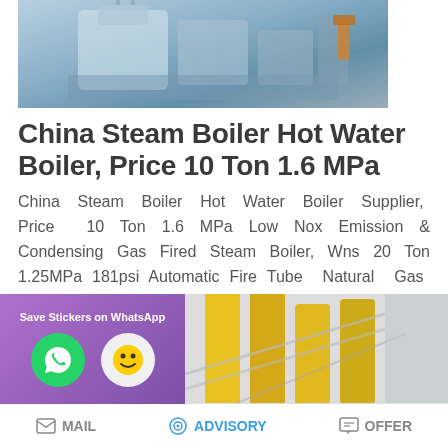[Figure (photo): Industrial boiler equipment photo showing large machinery in a facility]
China Steam Boiler Hot Water Boiler, Price 10 Ton 1.6 MPa
China Steam Boiler Hot Water Boiler Supplier, Price 10 Ton 1.6 MPa Low Nox Emission & Condensing Gas Fired Steam Boiler, Wns 20 Ton 1.25MPa 181psi Automatic Fire Tube Natural Gas LPG Diesel Waste Oil Fired Industri…
READ MORE
[Figure (screenshot): WhatsApp sticker save overlay with purple background showing phone and emoji icons, alongside industrial yellow pipe image]
MAIL   ADVISORY   OFFER